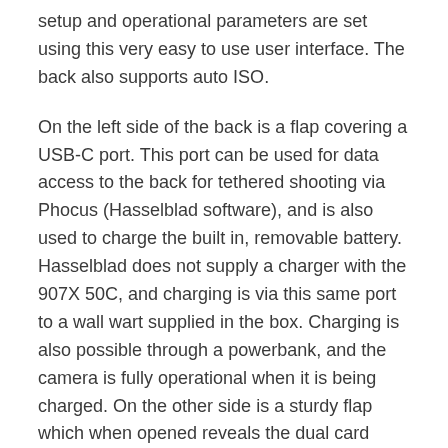setup and operational parameters are set using this very easy to use user interface. The back also supports auto ISO.
On the left side of the back is a flap covering a USB-C port. This port can be used for data access to the back for tethered shooting via Phocus (Hasselblad software), and is also used to charge the built in, removable battery. Hasselblad does not supply a charger with the 907X 50C, and charging is via this same port to a wall wart supplied in the box. Charging is also possible through a powerbank, and the camera is fully operational when it is being charged. On the other side is a sturdy flap which when opened reveals the dual card slots and the battery.